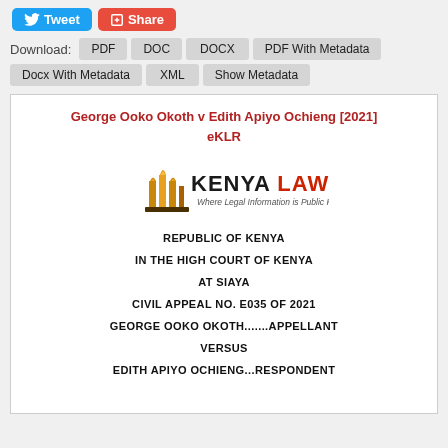[Figure (screenshot): Tweet and Share social media buttons]
Download: PDF  DOC  DOCX  PDF With Metadata  Docx With Metadata  XML  Show Metadata
George Ooko Okoth v Edith Apiyo Ochieng [2021] eKLR
[Figure (logo): Kenya Law logo - Where Legal Information is Public Knowledge]
REPUBLIC OF KENYA
IN THE HIGH COURT OF KENYA
AT SIAYA
CIVIL APPEAL NO. E035 OF 2021
GEORGE OOKO OKOTH.......APPELLANT
VERSUS
EDITH APIYO OCHIENG...RESPONDENT